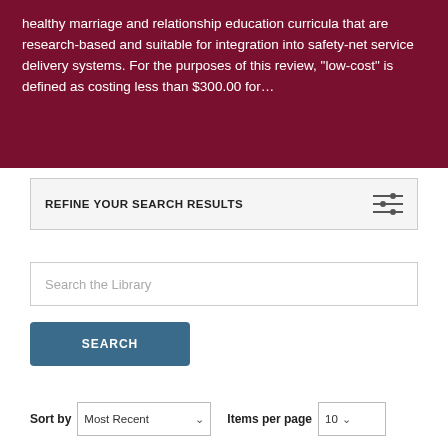healthy marriage and relationship education curricula that are research-based and suitable for integration into safety-net service delivery systems. For the purposes of this review, "low-cost" is defined as costing less than $300.00 for…
REFINE YOUR SEARCH RESULTS
Search the Library
SEARCH
Sort by   Most Recent ∨   Items per page   10 ∨